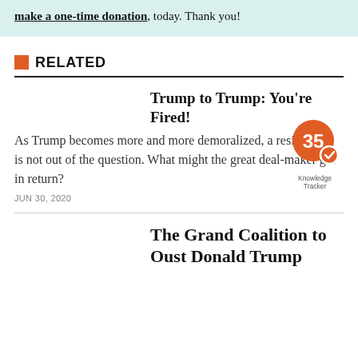make a one-time donation, today. Thank you!
RELATED
Trump to Trump: You're Fired!
As Trump becomes more and more demoralized, a resignation is not out of the question. What might the great deal-maker get in return?
JUN 30, 2020
[Figure (infographic): Knowledge Tracker badge showing number 35 with orange circle and checkmark]
The Grand Coalition to Oust Donald Trump